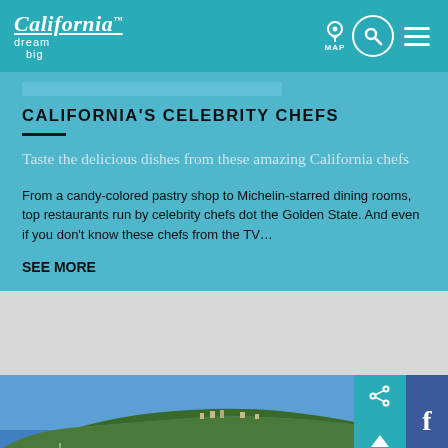California dream big — MAP [navigation icons]
CALIFORNIA'S CELEBRITY CHEFS
Taste the delicious dishes from these amazing California chefs
From a candy-colored pastry shop to Michelin-starred dining rooms, top restaurants run by celebrity chefs dot the Golden State. And even if you don't know these chefs from the TV...
SEE MORE
[Figure (photo): Aerial coastal photo showing an island or peninsula with green hills, buildings, and blue ocean with boats]